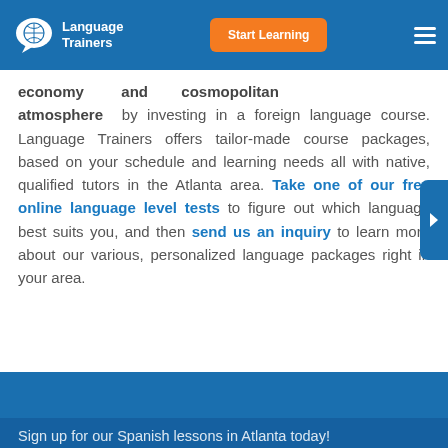Language Trainers — Start Learning
economy and cosmopolitan atmosphere by investing in a foreign language course. Language Trainers offers tailor-made course packages, based on your schedule and learning needs all with native, qualified tutors in the Atlanta area. Take one of our free online language level tests to figure out which language best suits you, and then send us an inquiry to learn more about our various, personalized language packages right in your area.
Sign up for our Spanish lessons in Atlanta today!